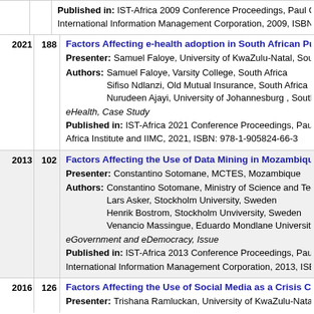Published in: IST-Africa 2009 Conference Proceedings, Paul Cunningha... International Information Management Corporation, 2009, ISBN: 978-1-90...
Factors Affecting e-health adoption in South African Public Hospitals
Presenter: Samuel Faloye, University of KwaZulu-Natal, South Africa
Authors: Samuel Faloye, Varsity College, South Africa; Sifiso Ndlanzi, Old Mutual Insurance, South Africa; Nurudeen Ajayi, University of Johannesburg , South Africa
eHealth, Case Study
Published in: IST-Africa 2021 Conference Proceedings, Paul Cunningha... Africa Institute and IIMC, 2021, ISBN: 978-1-905824-66-3
Factors Affecting the Use of Data Mining in Mozambique
Presenter: Constantino Sotomane, MCTES, Mozambique
Authors: Constantino Sotomane, Ministry of Science and Technology, M...; Lars Asker, Stockholm University, Sweden; Henrik Bostrom, Stockholm Unviversity, Sweden; Venancio Massingue, Eduardo Mondlane University, Mozamb...
eGovernment and eDemocracy, Issue
Published in: IST-Africa 2013 Conference Proceedings, Paul Cunningha... International Information Management Corporation, 2013, ISBN: 978-1-90...
Factors Affecting the Use of Social Media as a Crisis Communication...
Presenter: Trishana Ramluckan, University of KwaZulu-Natal, South Afri...